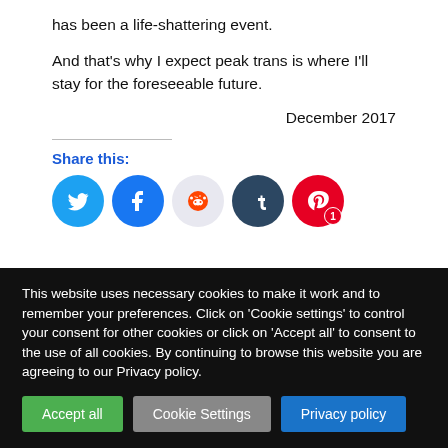has been a life-shattering event.
And that’s why I expect peak trans is where I’ll stay for the foreseeable future.
December 2017
Share this:
[Figure (infographic): Social share buttons: Twitter (blue), Facebook (blue), Reddit (light grey), Tumblr (dark blue), Pinterest (red with badge '1')]
This website uses necessary cookies to make it work and to remember your preferences. Click on 'Cookie settings' to control your consent for other cookies or click on 'Accept all' to consent to the use of all cookies. By continuing to browse this website you are agreeing to our Privacy policy.
Accept all | Cookie Settings | Privacy policy